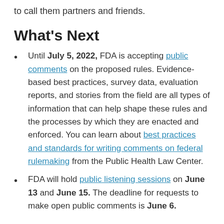to call them partners and friends.
What's Next
Until July 5, 2022, FDA is accepting public comments on the proposed rules. Evidence-based best practices, survey data, evaluation reports, and stories from the field are all types of information that can help shape these rules and the processes by which they are enacted and enforced. You can learn about best practices and standards for writing comments on federal rulemaking from the Public Health Law Center.
FDA will hold public listening sessions on June 13 and June 15. The deadline for requests to make open public comments is June 6.